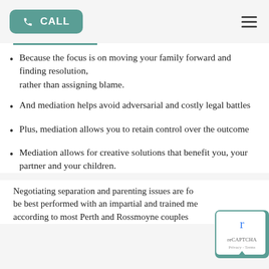CALL
Because the focus is on moving your family forward and finding resolution, rather than assigning blame.
And mediation helps avoid adversarial and costly legal battles
Plus, mediation allows you to retain control over the outcome
Mediation allows for creative solutions that benefit you, your partner and your children.
Negotiating separation and parenting issues are fo... be best performed with an impartial and trained me... according to most Perth and Rossmoyne couples